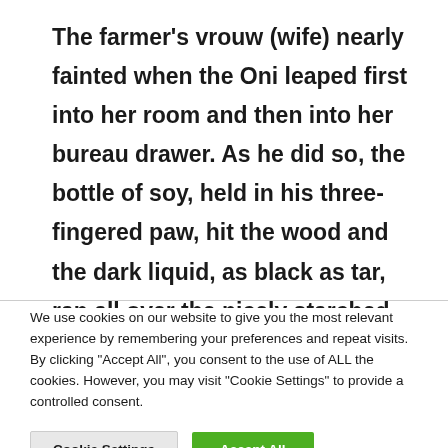The farmer's vrouw (wife) nearly fainted when the Oni leaped first into her room and then into her bureau drawer. As he did so, the bottle of soy, held in his three-fingered paw, hit the wood and the dark liquid, as black as tar, ran all over the nicely starched laces, collars and
We use cookies on our website to give you the most relevant experience by remembering your preferences and repeat visits. By clicking "Accept All", you consent to the use of ALL the cookies. However, you may visit "Cookie Settings" to provide a controlled consent.